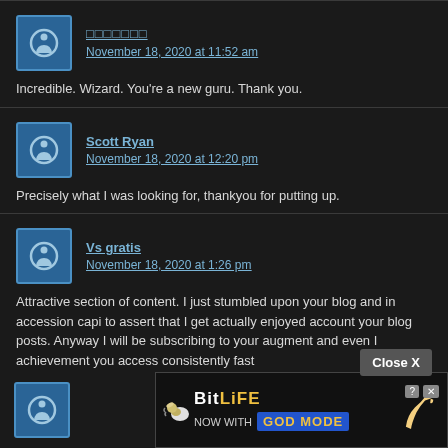[garbled/unicode name] — November 18, 2020 at 11:52 am
Incredible. Wizard. You're a new guru. Thank you.
Scott Ryan — November 18, 2020 at 12:20 pm
Precisely what I was looking for, thankyou for putting up.
Vs gratis — November 18, 2020 at 1:26 pm
Attractive section of content. I just stumbled upon your blog and in accession capi to assert that I get actually enjoyed account your blog posts. Anyway I will be subscribing to your augment and even I achievement you access consistently fast
Close X
[Figure (screenshot): BitLife game advertisement banner: 'NOW WITH GOD MODE' with snail icon and pointing hand graphic, close button.]